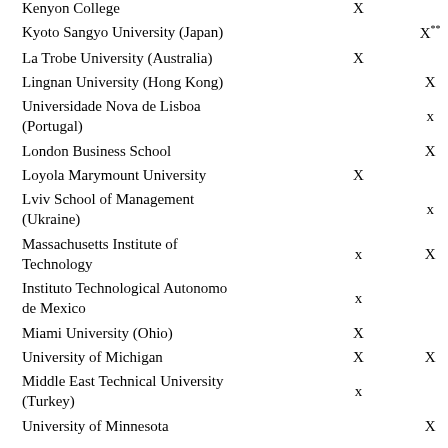| Institution | Col1 | Col2 |
| --- | --- | --- |
| Kenyon College | X |  |
| Kyoto Sangyo University (Japan) |  | X** |
| La Trobe University (Australia) | X |  |
| Lingnan University (Hong Kong) |  | X |
| Universidade Nova de Lisboa (Portugal) |  | x |
| London Business School |  | X |
| Loyola Marymount University | X |  |
| Lviv School of Management (Ukraine) |  | x |
| Massachusetts Institute of Technology | x | X |
| Instituto Technological Autonomo de Mexico | x |  |
| Miami University (Ohio) | X |  |
| University of Michigan | X | X |
| Middle East Technical University (Turkey) | x |  |
| University of Minnesota |  | X |